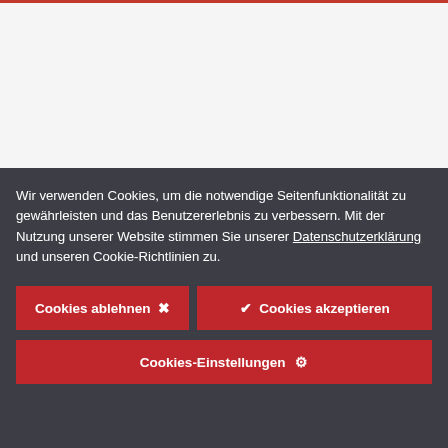[Figure (screenshot): Top section showing a website background with a red top border line and light gray/white content area.]
Wir verwenden Cookies, um die notwendige Seitenfunktionalität zu gewährleisten und das Benutzererlebnis zu verbessern. Mit der Nutzung unserer Website stimmen Sie unserer Datenschutzerklärung und unseren Cookie-Richtlinien zu.
Cookies ablehnen ✕
✔ Cookies akzeptieren
Cookies-Einstellungen ⚙